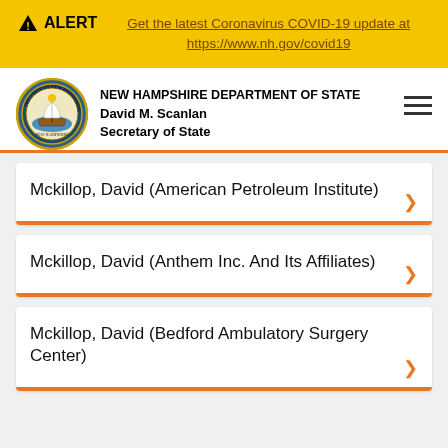ALERT — Get the latest Coronavirus COVID-19 update at https://www.nh.gov/covid19
[Figure (logo): New Hampshire Department of State seal and header with name David M. Scanlan, Secretary of State]
Mckillop, David (American Petroleum Institute)
Mckillop, David (Anthem Inc. And Its Affiliates)
Mckillop, David (Bedford Ambulatory Surgery Center)